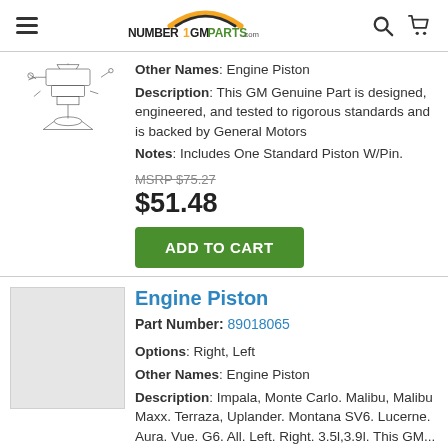Number1GMParts.com
[Figure (illustration): Engine piston assembly schematic line drawing]
Other Names: Engine Piston
Description: This GM Genuine Part is designed, engineered, and tested to rigorous standards and is backed by General Motors
Notes: Includes One Standard Piston W/Pin.
MSRP $75.27
$51.48
ADD TO CART
Engine Piston
Part Number: 89018065
Options: Right, Left
Other Names: Engine Piston
Description: Impala, Monte Carlo. Malibu, Malibu Maxx. Terraza, Uplander. Montana SV6. Lucerne. Aura. Vue. G6. All. Left. Right. 3.5l,3.9l. This GM... More Info
Notes: Includes Standard Piston